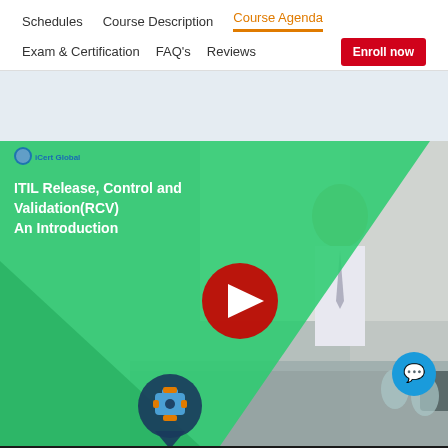Schedules  Course Description  Course Agenda  Exam & Certification  FAQ's  Reviews  Enroll now
[Figure (screenshot): Video thumbnail for 'ITIL Release, Control and Validation(RCV) An Introduction' showing a business meeting scene with a YouTube play button overlay, green diagonal design element, iCert Global logo, and a gear/settings badge icon.]
Request a Call Back Now !